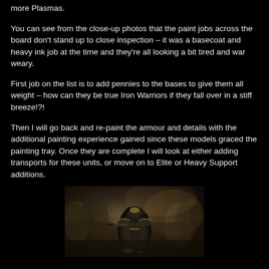more Plasmas.
You can see from the close-up photos that the paint jobs across the board don't stand up to close inspection – it was a basecoat and heavy ink job at the time and they're all looking a bit tired and war weary.
First job on the list is to add pennies to the bases to give them all weight – how can they be true Iron Warriors if they fall over in a stiff breeze!?!
Then I will go back and re-paint the armour and details with the additional painting experience gained since these models graced the painting tray. Once they are complete I will look at either adding transports for these units, or move on to Elite or Heavy Support additions.
[Figure (photo): Close-up photo of Iron Warriors Chaos Space Marine miniatures, showing dark armoured figures with gold/bronze details, multiple miniatures visible in the background, shallow depth of field with foreground figure in focus]